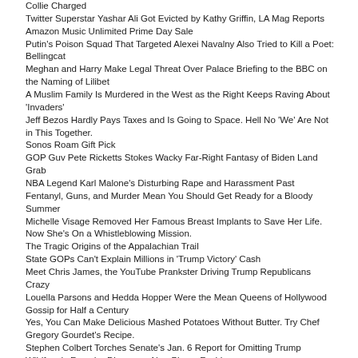Collie Charged
Twitter Superstar Yashar Ali Got Evicted by Kathy Griffin, LA Mag Reports
Amazon Music Unlimited Prime Day Sale
Putin's Poison Squad That Targeted Alexei Navalny Also Tried to Kill a Poet: Bellingcat
Meghan and Harry Make Legal Threat Over Palace Briefing to the BBC on the Naming of Lilibet
A Muslim Family Is Murdered in the West as the Right Keeps Raving About 'Invaders'
Jeff Bezos Hardly Pays Taxes and Is Going to Space. Hell No 'We' Are Not in This Together.
Sonos Roam Gift Pick
GOP Guv Pete Ricketts Stokes Wacky Far-Right Fantasy of Biden Land Grab
NBA Legend Karl Malone's Disturbing Rape and Harassment Past
Fentanyl, Guns, and Murder Mean You Should Get Ready for a Bloody Summer
Michelle Visage Removed Her Famous Breast Implants to Save Her Life. Now She's On a Whistleblowing Mission.
The Tragic Origins of the Appalachian Trail
State GOPs Can't Explain Millions in 'Trump Victory' Cash
Meet Chris James, the YouTube Prankster Driving Trump Republicans Crazy
Louella Parsons and Hedda Hopper Were the Mean Queens of Hollywood Gossip for Half a Century
Yes, You Can Make Delicious Mashed Potatoes Without Butter. Try Chef Gregory Gourdet's Recipe.
Stephen Colbert Torches Senate's Jan. 6 Report for Omitting Trump
Wildfang's Founder Discusses Non-Binary Fashion